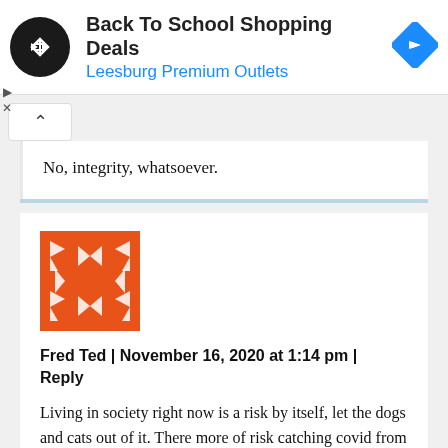[Figure (screenshot): Advertisement banner for Back To School Shopping Deals at Leesburg Premium Outlets, with circular black logo with double arrow, blue outlet name, and blue diamond navigation icon on the right]
No, integrity, whatsoever.
[Figure (illustration): Orange square avatar with decorative white arrow pattern tiles]
Fred Ted | November 16, 2020 at 1:14 pm | Reply
Living in society right now is a risk by itself, let the dogs and cats out of it. There more of risk catching covid from your